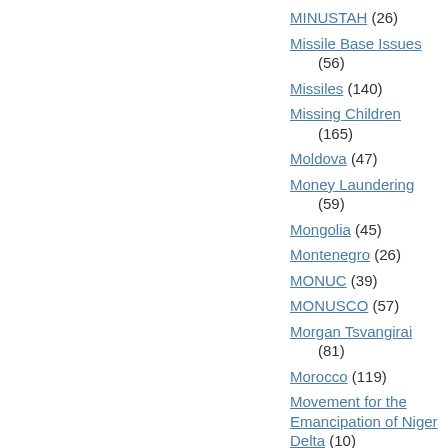MINUSTAH (26)
Missile Base Issues (56)
Missiles (140)
Missing Children (165)
Moldova (47)
Money Laundering (59)
Mongolia (45)
Montenegro (26)
MONUC (39)
MONUSCO (57)
Morgan Tsvangirai (81)
Morocco (119)
Movement for the Emancipation of Niger Delta (10)